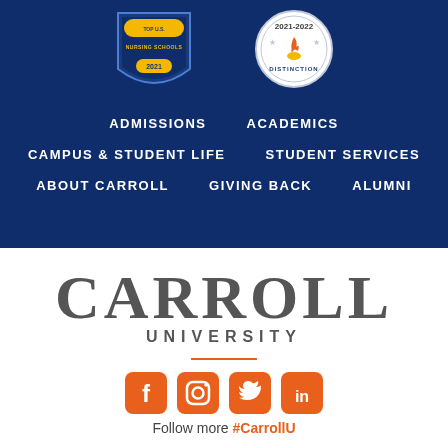[Figure (logo): Top U.S. Nursing Schools 2021 badge (shield shape, blue and gold)]
[Figure (logo): 2021-2022 Distinction badge (circular, white and navy with flame icon)]
ADMISSIONS
ACADEMICS
CAMPUS & STUDENT LIFE
STUDENT SERVICES
ABOUT CARROLL
GIVING BACK
ALUMNI
[Figure (logo): Carroll University logo with large serif CARROLL text, UNIVERSITY subtitle, and orange shield crest icon]
[Figure (logo): Social media icons row: Facebook, Instagram, Twitter, LinkedIn (all orange rounded square)]
Follow more #CarrollU